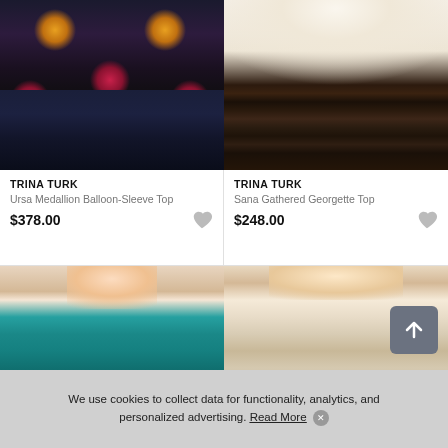[Figure (photo): Trina Turk Ursa Medallion Balloon-Sleeve Top — torso shot of model wearing a dark medallion-print blouse with dark jeans]
[Figure (photo): Trina Turk Sana Gathered Georgette Top — torso shot of model wearing a cream blouse with plaid pants]
TRINA TURK
Ursa Medallion Balloon-Sleeve Top
$378.00
TRINA TURK
Sana Gathered Georgette Top
$248.00
[Figure (photo): Model wearing a teal V-neck long-sleeve blouse with gold hoop earrings]
[Figure (photo): Model wearing a cream button-down shirt with gold hoop earrings]
We use cookies to collect data for functionality, analytics, and personalized advertising. Read More ✕